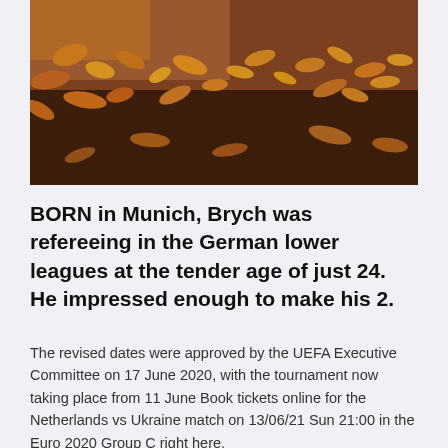[Figure (photo): Autumn leaves scattered on dark earth/ground, warm reddish-brown tones]
BORN in Munich, Brych was refereeing in the German lower leagues at the tender age of just 24. He impressed enough to make his 2.
The revised dates were approved by the UEFA Executive Committee on 17 June 2020, with the tournament now taking place from 11 June Book tickets online for the Netherlands vs Ukraine match on 13/06/21 Sun 21:00 in the Euro 2020 Group C right here.